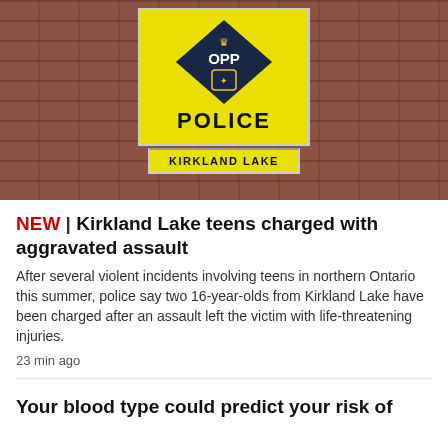[Figure (photo): OPP Police sign for Kirkland Lake station mounted on a brick wall exterior. Yellow sign with dark blue OPP logo/crest and text reading 'OPP POLICE' and a lower panel reading 'KIRKLAND LAKE'.]
NEW | Kirkland Lake teens charged with aggravated assault
After several violent incidents involving teens in northern Ontario this summer, police say two 16-year-olds from Kirkland Lake have been charged after an assault left the victim with life-threatening injuries.
23 min ago
Your blood type could predict your risk of